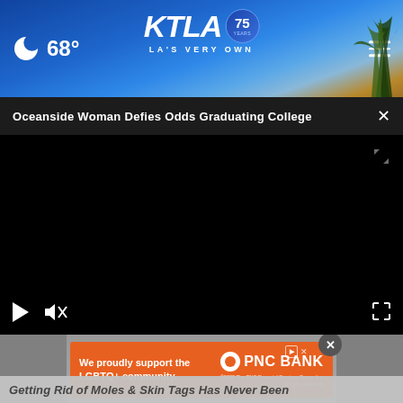KTLA 75 YEARS — LA'S VERY OWN | 68°
Oceanside Woman Defies Odds Graduating College
[Figure (screenshot): Black video player area with playback controls (play button, mute button, fullscreen button) at the bottom]
[Figure (photo): Partial view of a person holding a green object, partially visible at the bottom of the video player]
[Figure (other): PNC Bank advertisement banner with orange background reading 'We proudly support the LGBTQ+ community.' with PNC Bank logo and copyright 2022]
Getting Rid of Moles & Skin Tags Has Never Been